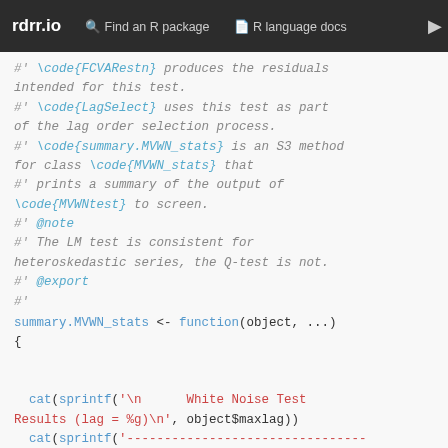rdrr.io   Find an R package   R language docs
#' \code{FCVARestn} produces the residuals intended for this test.
#' \code{LagSelect} uses this test as part of the lag order selection process.
#' \code{summary.MVWN_stats} is an S3 method for class \code{MVWN_stats} that
#' prints a summary of the output of \code{MVWNtest} to screen.
#' @note
#' The LM test is consistent for heteroskedastic series, the Q-test is not.
#' @export
#'
summary.MVWN_stats <- function(object, ...)
{

  cat(sprintf('\n      White Noise Test Results (lag = %g)\n', object$maxlag))
  cat(sprintf('--------------------------------------------------\n'))
  cat(sprintf('Variable |       Q  R-val |